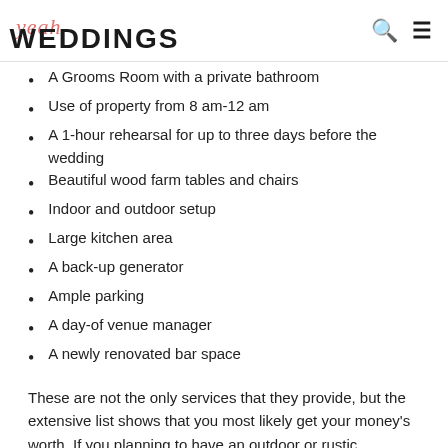yeah WEDDINGS
A Grooms Room with a private bathroom
Use of property from 8 am-12 am
A 1-hour rehearsal for up to three days before the wedding
Beautiful wood farm tables and chairs
Indoor and outdoor setup
Large kitchen area
A back-up generator
Ample parking
A day-of venue manager
A newly renovated bar space
These are not the only services that they provide, but the extensive list shows that you most likely get your money's worth. If you planning to have an outdoor or rustic wedding, then consider booking the Stonebrook